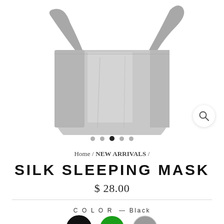[Figure (photo): Silk sleep mask product in grey drawstring pouch bag, partial view showing top portion of the bag against white background]
Home / NEW ARRIVALS /
SILK SLEEPING MASK
$ 28.00
COLOR — Black